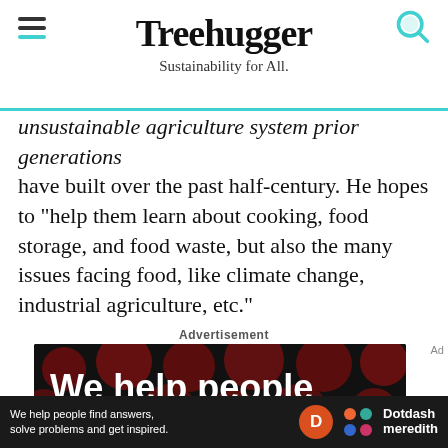Treehugger — Sustainability for All.
unsustainable agriculture system prior generations have built over the past half-century. He hopes to "help them learn about cooking, food storage, and food waste, but also the many issues facing food, like climate change, industrial agriculture, etc."
Advertisement
[Figure (photo): Advertisement banner with dark background and red dot pattern showing text: 'We help people find answers, solve problems and get inspired' with Dotdash Meredith branding]
We help people find answers, solve problems and get inspired. — Dotdash meredith